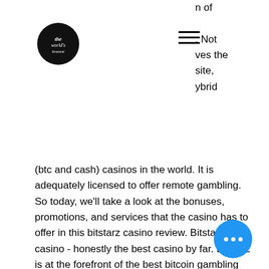[Figure (logo): Circular black logo with stylized white text/script writing]
[Figure (other): Hamburger menu icon (three horizontal lines)]
n of . Not ves the site, ybrid (btc and cash) casinos in the world. It is adequately licensed to offer remote gambling. So today, we'll take a look at the bonuses, promotions, and services that the casino has to offer in this bitstarz casino review. Bitstarz casino - honestly the best casino by far. Bitstarz is at the forefront of the best bitcoin gambling industry,. Отзывы об онлайн казино bitstarz. Com, какая платформа? обзоры бонусов: промокоды, бездепозитный бонус, условия отыгрыша. As per the bitstarz casino review, the bitstarz platform is one that has left no stone unturned when it comes to its gaming section. Read our review to find out everything about bitstarz australia: #1 bitcoin